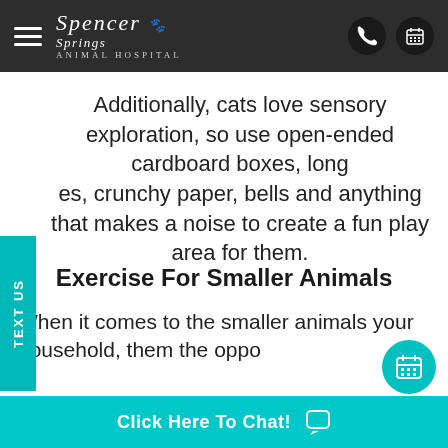Spencer Springs Animal Hospital
Additionally, cats love sensory exploration, so use open-ended cardboard boxes, long es, crunchy paper, bells and anything that makes a noise to create a fun play area for them.
Exercise For Smaller Animals
When it comes to the smaller animals your household, them the oppo